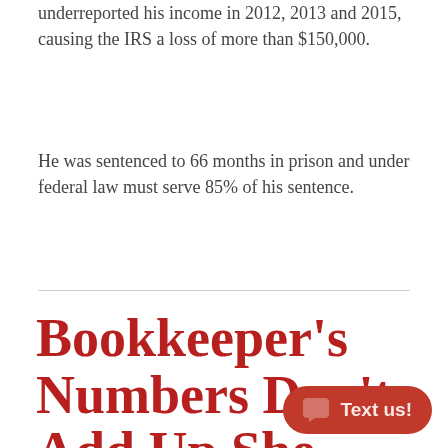underreported his income in 2012, 2013 and 2015, causing the IRS a loss of more than $150,000.
He was sentenced to 66 months in prison and under federal law must serve 85% of his sentence.
Bookkeeper's Numbers Don't Add Up She